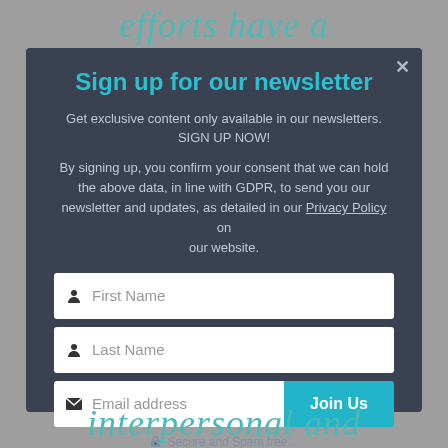efforts have a
Sign up for our newsletter
Get exclusive content only available in our newsletters. SIGN UP NOW!
By signing up, you confirm your consent that we can hold the above data, in line with GDPR, to send you our newsletter and updates, as detailed in our Privacy Policy on our website.
interpersonal and